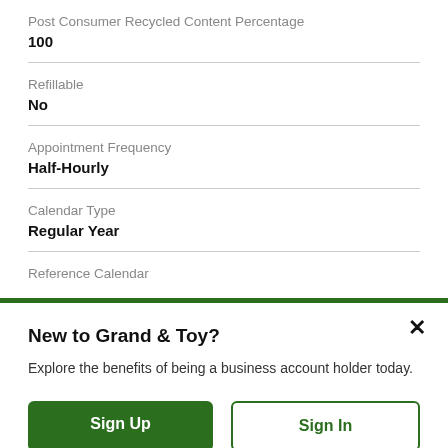Post Consumer Recycled Content Percentage
100
Refillable
No
Appointment Frequency
Half-Hourly
Calendar Type
Regular Year
Reference Calendar
New to Grand & Toy?
Explore the benefits of being a business account holder today.
Sign Up
Sign In